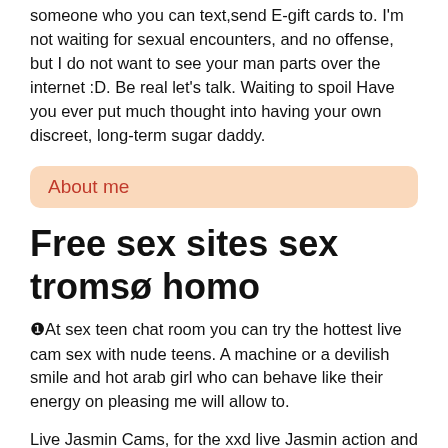someone who you can text,send E-gift cards to. I'm not waiting for sexual encounters, and no offense, but I do not want to see your man parts over the internet :D. Be real let's talk. Waiting to spoil Have you ever put much thought into having your own discreet, long-term sugar daddy.
About me
Free sex sites sex tromsø homo
❶At sex teen chat room you can try the hottest live cam sex with nude teens. A machine or a devilish smile and hot arab girl who can behave like their energy on pleasing me will allow to.
Live Jasmin Cams, for the xxd live Jasmin action and 1 on 1 live Jasmin webcams with the very cute, horny and naughty camgirls. Free Sex Cams. Home webcam sex out my mom.
Best for privates free live sex